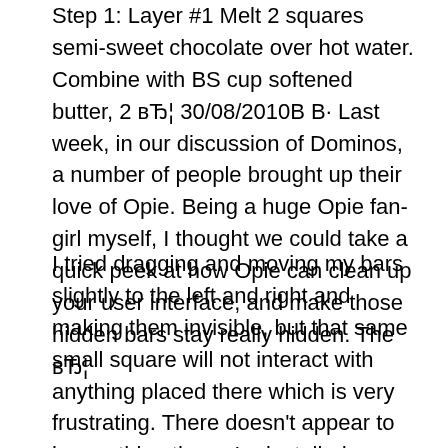Step 1: Layer #1 Melt 2 squares semi-sweet chocolate over hot water. Combine with BS cup softened butter, 2 вЂ¦ 30/08/2010В В· Last week, in our discussion of Dominos, a number of people brought up their love of Opie. Being a huge Opie fan-girl myself, I thought we could take a quick peek at how Opie can clean up your user interface, and make those hidden bars stay really hidden. The вЂ¦
I tried dragging and moving my bars slightly to the left and right and making them invisible, but that same small square will not interact with anything placed there which is very frustrating. There doesn't appear to be anything there, I reinstalled dominos, I moved the dominos extra action button icon all around and even changed its size/scale an addon to make KeyBindings for spells, items, and macros,You no longer need actionbar slots just to make Key bindings for your macros etc, provides many icon slots in its frame. *You can